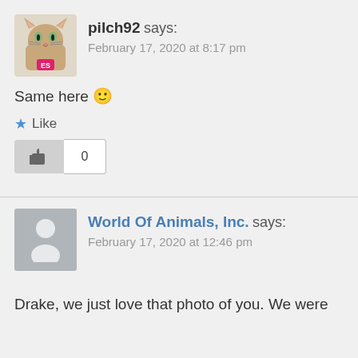pilch92 says: February 17, 2020 at 8:17 pm
Same here 🙂
★ Like
👍 0
World Of Animals, Inc. says: February 17, 2020 at 12:46 pm
Drake, we just love that photo of you. We were